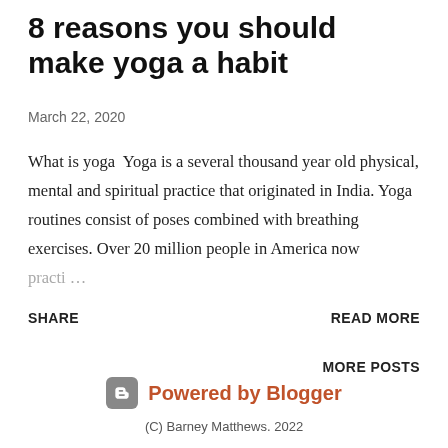8 reasons you should make yoga a habit
March 22, 2020
What is yoga  Yoga is a several thousand year old physical, mental and spiritual practice that originated in India. Yoga routines consist of poses combined with breathing exercises. Over 20 million people in America now practi…
SHARE
READ MORE
MORE POSTS
Powered by Blogger
(C) Barney Matthews. 2022